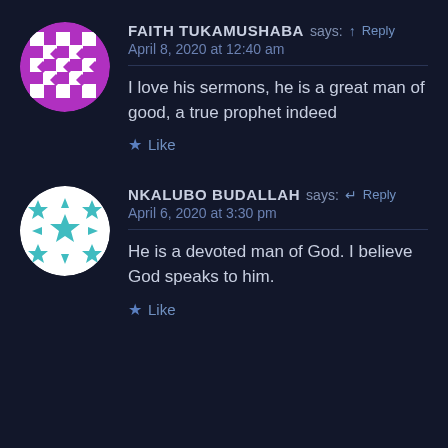[Figure (illustration): Purple and white geometric checkerboard pattern avatar in a circle for user Faith Tukamushaba]
FAITH TUKAMUSHABA says: Reply
April 8, 2020 at 12:40 am
I love his sermons, he is a great man of good, a true prophet indeed
★ Like
[Figure (illustration): Teal/cyan geometric star pattern avatar in a circle on white background for user Nkalubo Budallah]
NKALUBO BUDALLAH says: Reply
April 6, 2020 at 3:30 pm
He is a devoted man of God. I believe God speaks to him.
★ Like